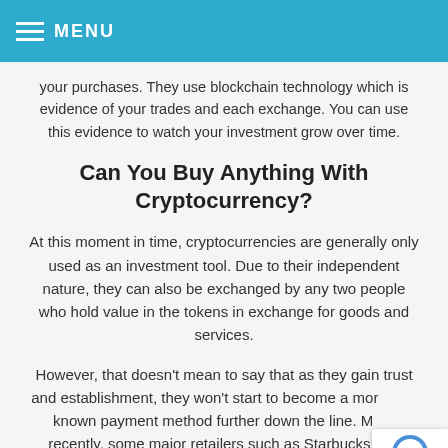MENU
your purchases. They use blockchain technology which is evidence of your trades and each exchange. You can use this evidence to watch your investment grow over time.
Can You Buy Anything With Cryptocurrency?
At this moment in time, cryptocurrencies are generally only used as an investment tool. Due to their independent nature, they can also be exchanged by any two people who hold value in the tokens in exchange for goods and services.
However, that doesn't mean to say that as they gain trust and establishment, they won't start to become a more well known payment method further down the line. More recently, some major retailers such as Starbucks and Home